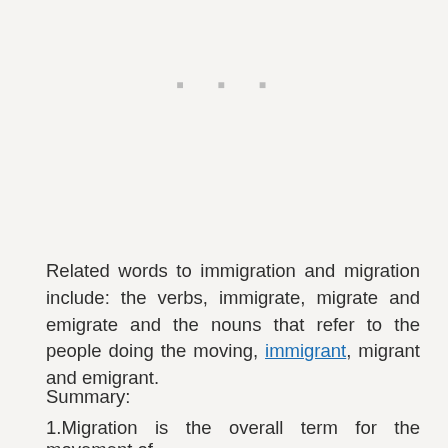[Figure (other): Three small grey dots/ellipsis centered near the top of the page]
Related words to immigration and migration include: the verbs, immigrate, migrate and emigrate and the nouns that refer to the people doing the moving, immigrant, migrant and emigrant.
Summary:
1.Migration is the overall term for the movement of